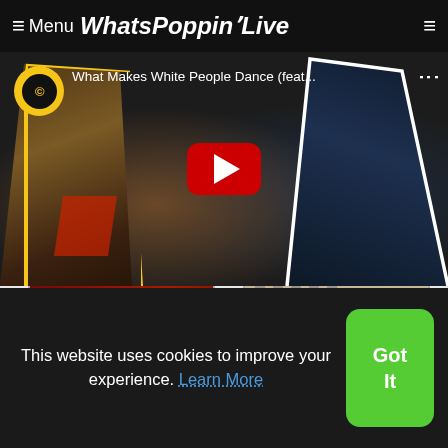≡ Menu WhatsPoppinLive
[Figure (screenshot): YouTube video thumbnail for 'What Makes White People Dance (feat...' showing two people with Comedy Central logo, red YouTube play button overlay]
[Figure (screenshot): Thumbnail of Kevin Hart Grown Little Men featuring a masked figure in red suit]
[Figure (screenshot): Thumbnail of a figure near door bars]
Kevin Hart Grown Little Men
This website uses cookies to improve your experience. Learn More
Got It